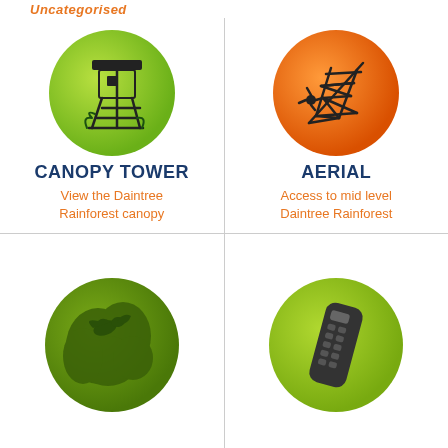Uncategorised
[Figure (illustration): Green circle with canopy tower/observation tower icon]
CANOPY TOWER
View the Daintree Rainforest canopy
[Figure (illustration): Orange circle with aerial/lattice structure icon]
AERIAL
Access to mid level Daintree Rainforest
[Figure (illustration): Dark green circle with bird and foliage silhouette]
[Figure (illustration): Green circle with remote control device icon]